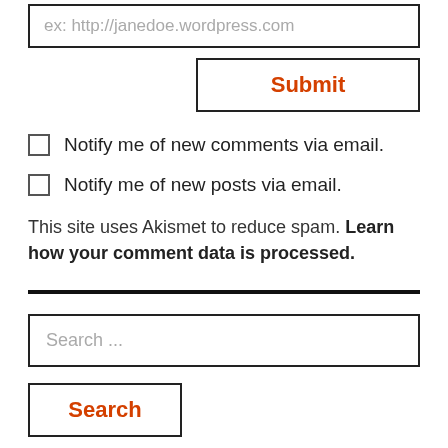ex: http://janedoe.wordpress.com
Submit
Notify me of new comments via email.
Notify me of new posts via email.
This site uses Akismet to reduce spam. Learn how your comment data is processed.
Search ...
Search